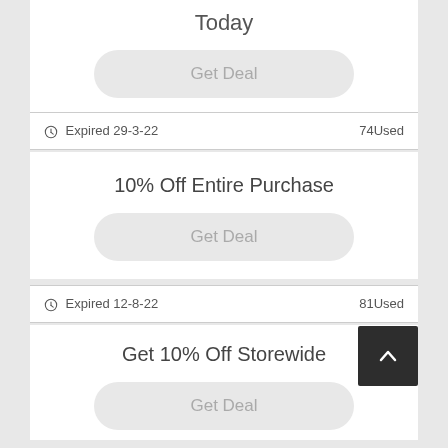Today
Get Deal
Expired 29-3-22   74Used
10% Off Entire Purchase
Get Deal
Expired 12-8-22   81Used
Get 10% Off Storewide
Get Deal